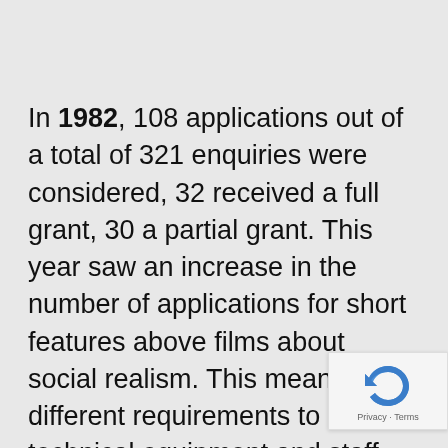In 1982, 108 applications out of a total of 321 enquiries were considered, 32 received a full grant, 30 a partial grant. This year saw an increase in the number of applications for short features above films about social realism. This meant different requirements to both technical equipment and staff. The number of home video productions was increasing, and the workshop had to decide whether to demand a higher professionalism from its users whi the same time remain open to amateurs. This